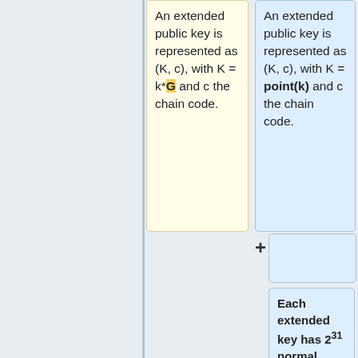An extended public key is represented as (K, c), with K = k*G and c the chain code.
An extended public key is represented as (K, c), with K = point(k) and c the chain code.
Each extended key has 2^31 normal child keys, and 2^31 hardened child keys. Each of these child keys has an index. The normal child keys use indices 0 through